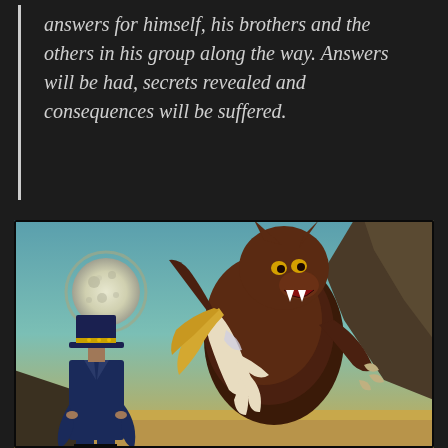answers for himself, his brothers and the others in his group along the way. Answers will be had, secrets revealed and consequences will be suffered.
[Figure (illustration): Comic book style illustration showing a werewolf carrying a woman, with a full moon in the background and a mysterious figure in a top hat in the foreground left.]